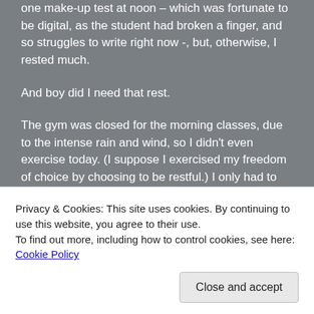one make-up test at noon – which was fortunate to be digital, as the student had broken a finger, and so struggles to write right now -, but, otherwise, I rested much.
And boy did I need that rest.
The gym was closed for the morning classes, due to the intense rain and wind, so I didn't even exercise today. (I suppose I exercised my freedom of choice by choosing to be restful.) I only had to be up just before eight to send out those e-mails. Though I woke naturally at four,
Privacy & Cookies: This site uses cookies. By continuing to use this website, you agree to their use.
To find out more, including how to control cookies, see here: Cookie Policy
Close and accept